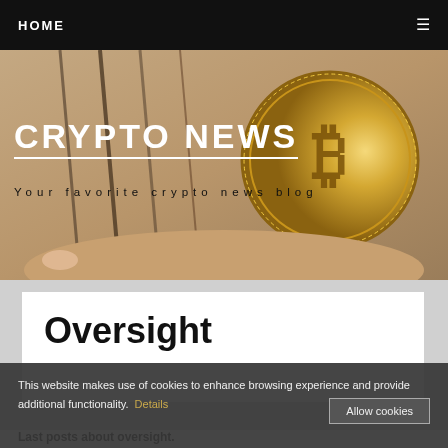HOME
CRYPTO NEWS
Your favorite crypto news blog
[Figure (photo): Person holding a gold Bitcoin coin close-up, blurred background with hair strands visible]
Oversight
This website makes use of cookies to enhance browsing experience and provide additional functionality.  Details
Last posts about oversight.